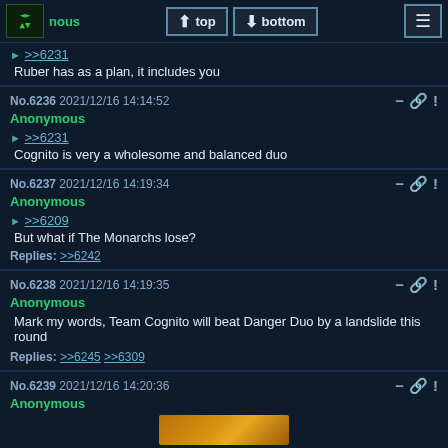Anonymous 2021/12/16 14:13:18 | top | bottom
▶ >>6231
Ruber has as a plan, it includes you
No.6236  2021/12/16 14:14:52
Anonymous
▶ >>6231
Cognito is very a wholesome and balanced duo
No.6237  2021/12/16 14:19:34
Anonymous
▶ >>6209
But what if The Monarchs lose?
Replies: >>6242
No.6238  2021/12/16 14:19:35
Anonymous
Mark my words, Team Cognito will beat Danger Duo by a landslide this round
Replies: >>6245 >>6309
No.6239  2021/12/16 14:20:36
Anonymous